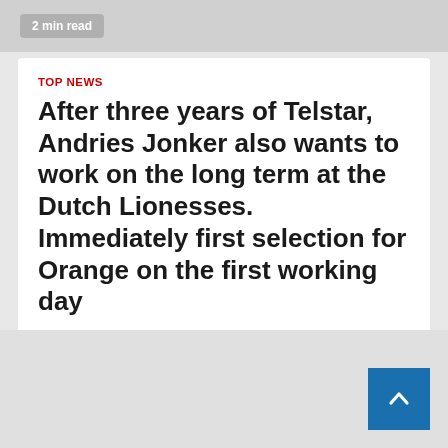2 min read
TOP NEWS
After three years of Telstar, Andries Jonker also wants to work on the long term at the Dutch Lionesses. Immediately first selection for Orange on the first working day
Earl Warner  2 weeks ago  👁 194
Andries Jonker can get to work. No time to acclimatize for the new national coach of the Dutch women's football team. The 59-year-old coach has... Read More